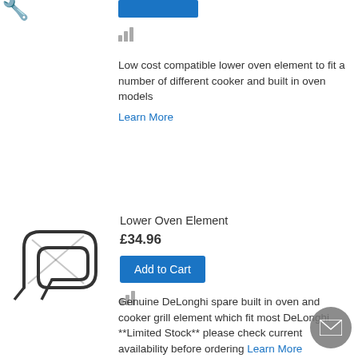[Figure (photo): Partial product image cropped at top left]
Low cost compatible lower oven element to fit a number of different cooker and built in oven models
Learn More
Lower Oven Element
£34.96
[Figure (photo): Lower oven element heating element product photo]
Add to Cart
Genuine DeLonghi spare built in oven and cooker grill element which fit most DeLonghi **Limited Stock** please check current availability before ordering Learn More